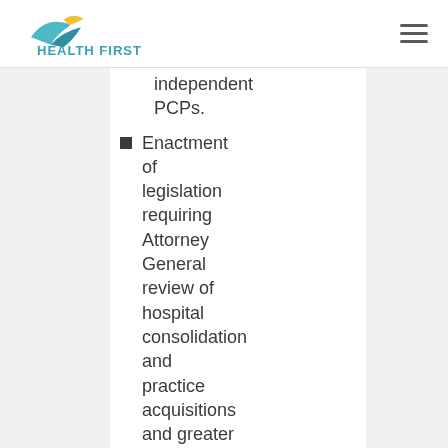Health First
independent PCPs.
Enactment of legislation requiring Attorney General review of hospital consolidation and practice acquisitions and greater transparency to patients